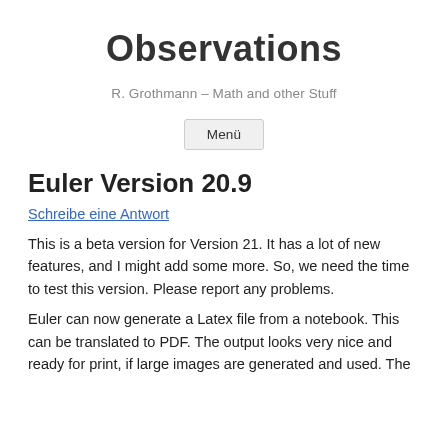Observations
R. Grothmann – Math and other Stuff
Menü
Euler Version 20.9
Schreibe eine Antwort
This is a beta version for Version 21. It has a lot of new features, and I might add some more. So, we need the time to test this version. Please report any problems.
Euler can now generate a Latex file from a notebook. This can be translated to PDF. The output looks very nice and ready for print, if large images are generated and used. The